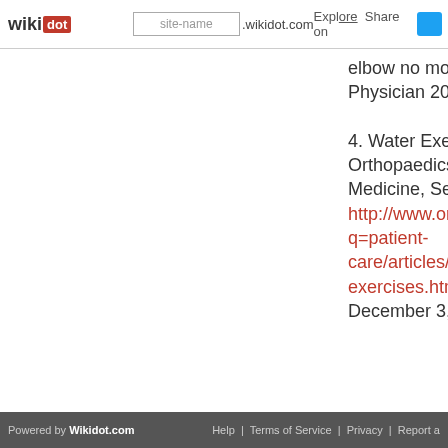wikidot | site-name .wikidot.com | Explore | Share on
elbow no more. Can Fam Physician 2008;54(8):1115-1116.
4. Water Exercises | UW Orthopaedics and Sports Medicine, Seattle. Available at: http://www.orthop.washington.edu/?q=patient-care/articles/arthritis/water-exercises.html. Accessed December 3, 2014.
Powered by Wikidot.com | Help | Terms of Service | Privacy | Report a